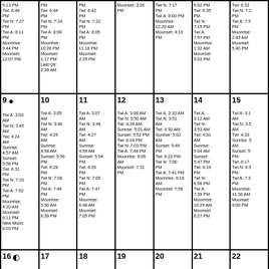| Sun | Mon | Tue | Wed | Thu | Fri | Sat |
| --- | --- | --- | --- | --- | --- | --- |
| 6:13 PM Twi: 6:46 PM Twi N: 7:27 PM Twi A: 8:11 PM Moonrise: 9:44 PM Moonset: 12:07 PM | PM Twi: 6:44 PM Twi N: 7:24 PM Twi A: 8:08 PM Moonrise: 10:26 PM Moonset: 1:17 PM Last Qtr: 2:39 AM | PM Twi: 6:42 PM Twi N: 7:22 PM Twi A: 8:05 PM Moonrise: 11:18 PM Moonset: 2:25 PM | Moonset: 3:26 PM | Twi N: 7:17 PM Twi A: 8:00 PM Moonrise: 12:20 AM Moonset: 4:19 PM | 6:02 PM Twi: 6:35 PM Twi N: 7:15 PM Twi A: 7:57 PM Moonrise: 1:32 AM Moonset: 5:03 PM | Twi: 6:33 Twi N: 7:1 PM Twi A: 7:5 PM Moonrise: 2:49 AM Moonset: 5:40 PM |